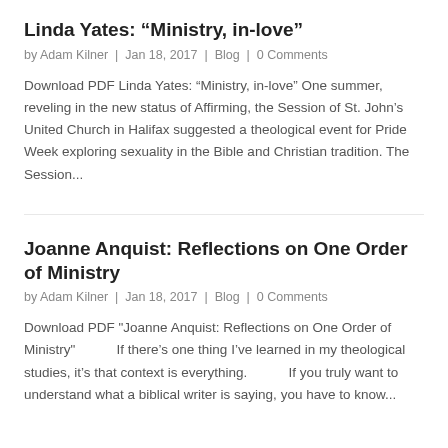Linda Yates: “Ministry, in-love”
by Adam Kilner | Jan 18, 2017 | Blog | 0 Comments
Download PDF Linda Yates: “Ministry, in-love” One summer, reveling in the new status of Affirming, the Session of St. John’s United Church in Halifax suggested a theological event for Pride Week exploring sexuality in the Bible and Christian tradition. The Session...
Joanne Anquist: Reflections on One Order of Ministry
by Adam Kilner | Jan 18, 2017 | Blog | 0 Comments
Download PDF "Joanne Anquist: Reflections on One Order of Ministry"          If there’s one thing I’ve learned in my theological studies, it’s that context is everything.          If you truly want to understand what a biblical writer is saying, you have to know...